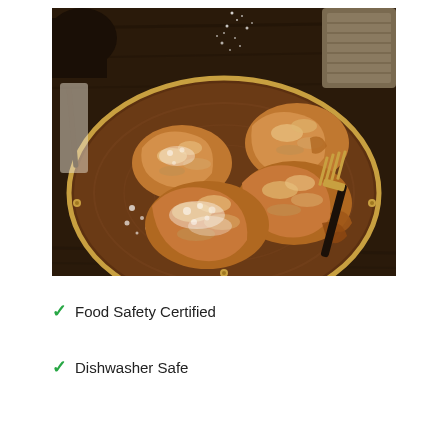[Figure (photo): Overhead/angled photo of almond croissants dusted with powdered sugar on a round wooden serving tray with a gold rim, with a fork on the side and powdered sugar being sprinkled from above. Dark wooden background.]
✓ Food Safety Certified
✓ Dishwasher Safe